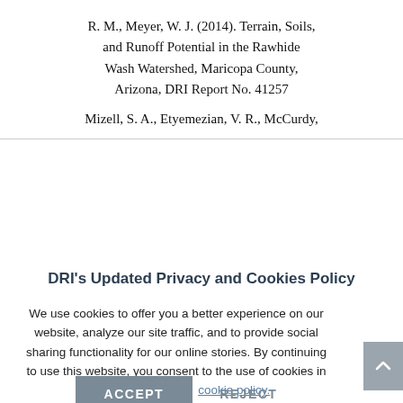R. M., Meyer, W. J. (2014). Terrain, Soils, and Runoff Potential in the Rawhide Wash Watershed, Maricopa County, Arizona, DRI Report No. 41257
Mizell, S. A., Etyemezian, V. R., McCurdy,
DRI's Updated Privacy and Cookies Policy
We use cookies to offer you a better experience on our website, analyze our site traffic, and to provide social sharing functionality for our online stories. By continuing to use this website, you consent to the use of cookies in accordance with our cookie policy.